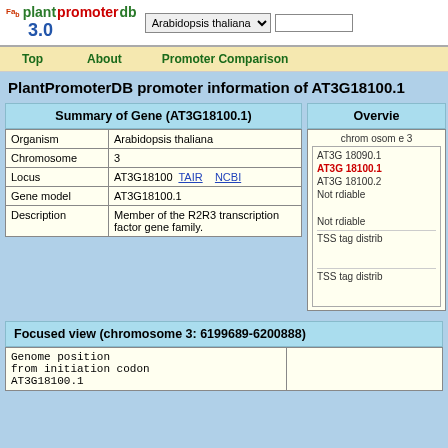plantpromoterdb 3.0 — Arabidopsis thaliana selector — search box
Top | About | Promoter Comparison
PlantPromoterDB promoter information of AT3G18100.1
Summary of Gene (AT3G18100.1)
|  |  |
| --- | --- |
| Organism | Arabidopsis thaliana |
| Chromosome | 3 |
| Locus | AT3G18100  TAIR  NCBI |
| Gene model | AT3G18100.1 |
| Description | Member of the R2R3 transcription factor gene family. |
Overvie
[Figure (screenshot): Overview panel showing chromosome 3 browser with genes AT3G18090.1, AT3G18100.1 (red, selected), AT3G18100.2, Not reliable labels, and TSS tag distrib entries]
Focused view (chromosome 3: 6199689-6200888)
| Genome position from initiation codon |  |
| --- | --- |
| AT3G18100.1 |  |